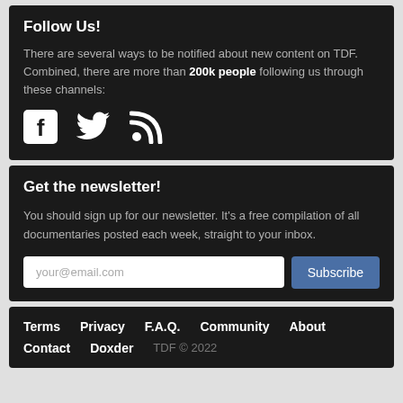Follow Us!
There are several ways to be notified about new content on TDF. Combined, there are more than 200k people following us through these channels:
[Figure (illustration): Three social media icons: Facebook, Twitter, and RSS feed]
Get the newsletter!
You should sign up for our newsletter. It's a free compilation of all documentaries posted each week, straight to your inbox.
your@email.com [email input field] Subscribe [button]
Terms  Privacy  F.A.Q.  Community  About  Contact  Doxder  TDF © 2022